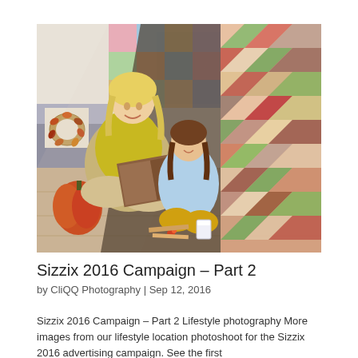[Figure (photo): A woman with blonde hair wearing a yellow sweater sits cross-legged on a wooden floor looking at a book/album with a young girl in a light blue sweater and yellow pants. They are sitting inside a fort/tent made from colorful patchwork quilts. An orange pumpkin is visible on the left, a decorative wreath on a pillow in the background, and a glass of milk on the floor in front of them.]
Sizzix 2016 Campaign – Part 2
by CliQQ Photography | Sep 12, 2016
Sizzix 2016 Campaign – Part 2 Lifestyle photography More images from our lifestyle location photoshoot for the Sizzix 2016 advertising campaign. See the first